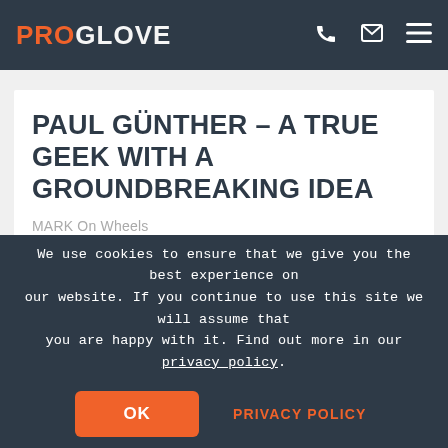PROGLOVE
PAUL GÜNTHER – A TRUE GEEK WITH A GROUNDBREAKING IDEA
MARK On Wheels
So that's him, I thought to myself. The brains behind the idea for ProGlove: Paul Günther.  By Axel Schmidt  I had heard
We use cookies to ensure that we give you the best experience on our website. If you continue to use this site we will assume that you are happy with it. Find out more in our privacy policy.
OK
PRIVACY POLICY